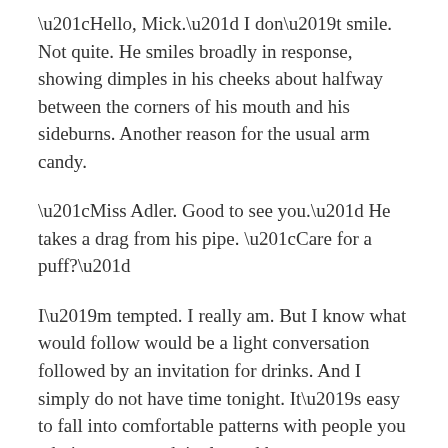“Hello, Mick.” I don’t smile. Not quite. He smiles broadly in response, showing dimples in his cheeks about halfway between the corners of his mouth and his sideburns. Another reason for the usual arm candy.
“Miss Adler. Good to see you.” He takes a drag from his pipe. “Care for a puff?”
I’m tempted. I really am. But I know what would follow would be a light conversation followed by an invitation for drinks. And I simply do not have time tonight. It’s easy to fall into comfortable patterns with people you admire, even grudgingly, and have come to trust.
He’s one of the few.
“Not tonight. I’m on a case.”
His brow arcs up ever so slightly, but the smile doesn’t